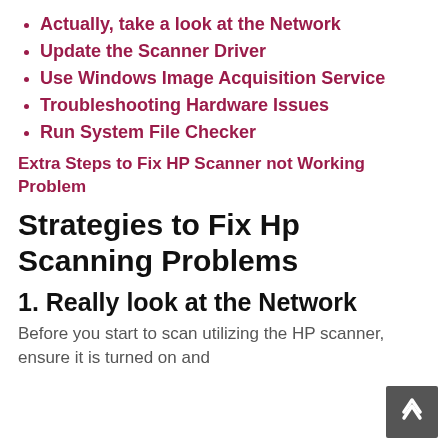Actually, take a look at the Network
Update the Scanner Driver
Use Windows Image Acquisition Service
Troubleshooting Hardware Issues
Run System File Checker
Extra Steps to Fix HP Scanner not Working Problem
Strategies to Fix Hp Scanning Problems
1. Really look at the Network
Before you start to scan utilizing the HP scanner, ensure it is turned on and